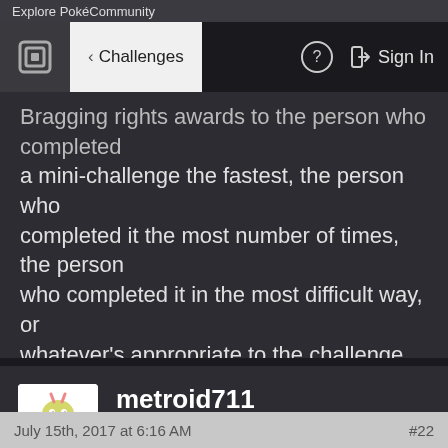Explore PokéCommunity
Bragging rights awards to the person who completed a mini-challenge the fastest, the person who completed it the most number of times, the person who completed it in the most difficult way, or whatever's appropriate to the challenge. And once we've had a few of them, there could be a leaderboard showing the people who've completed the most challenges or had the longest completion streak.
metroid711
Thumbs up~
July 15th, 2017 at 6:16 AM · #22